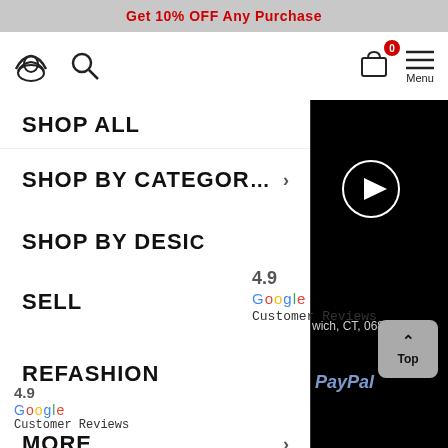Get 10% OFF Any Purchase
[Figure (screenshot): Navigation bar with user icon, search icon, shopping cart with badge showing 0, and Menu hamburger icon]
SHOP ALL
SHOP BY CATEGORY >
SHOP BY DESIGN
4.9
Google
Customer Reviews
SELL
wich, CT, 06830
REFASHION
MORE >
4.9
Google
Customer Reviews
PayPal